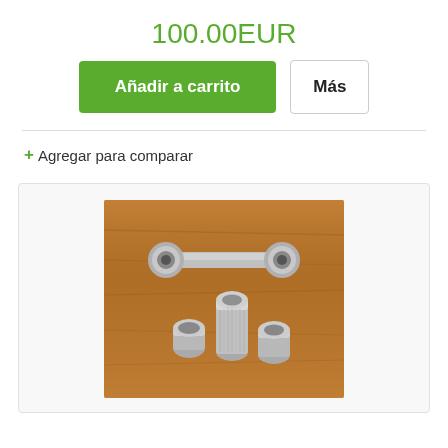100.00EUR
Añadir a carrito | Más
+ Agregar para comparar
[Figure (photo): Metal mechanical parts on a wooden surface: a metal rod/bar with round ends and cylindrical standoffs/spacers]